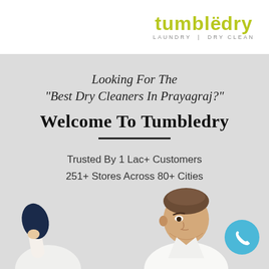[Figure (logo): Tumbledry logo with yellow-green text and tagline LAUNDRY | DRY CLEAN]
Looking For The "Best Dry Cleaners In Prayagraj?"
Welcome To Tumbledry
Trusted By 1 Lac+ Customers
251+ Stores Across 80+ Cities
Upto 25% OFF On 1st Order
[Figure (photo): Two people - one on left holding dark clothing, one on right a man in white shirt looking down. A blue phone call button icon on the bottom right.]